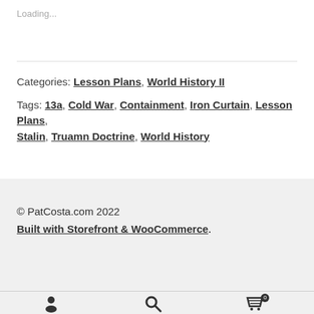Loading...
Categories: Lesson Plans, World History II
Tags: 13a, Cold War, Containment, Iron Curtain, Lesson Plans, Stalin, Truamn Doctrine, World History
© PatCosta.com 2022
Built with Storefront & WooCommerce.